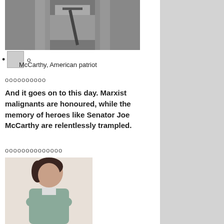[Figure (photo): Black and white photo of a man in a suit and tie, cropped at the top of the page]
o  McCarthy, American patriot
McCarthy, American patriot
oooooooooo
And it goes on to this day. Marxist malignants are honoured, while the memory of heroes like Senator Joe McCarthy are relentlessly trampled.
oooooooooooooo
[Figure (photo): Color photo of a woman with dark hair wearing a grey blazer, arms crossed, against a light background]